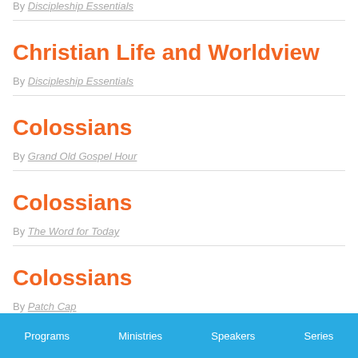By Discipleship Essentials
Christian Life and Worldview
By Discipleship Essentials
Colossians
By Grand Old Gospel Hour
Colossians
By The Word for Today
Colossians
By Patch Cap...
Programs   Ministries   Speakers   Series